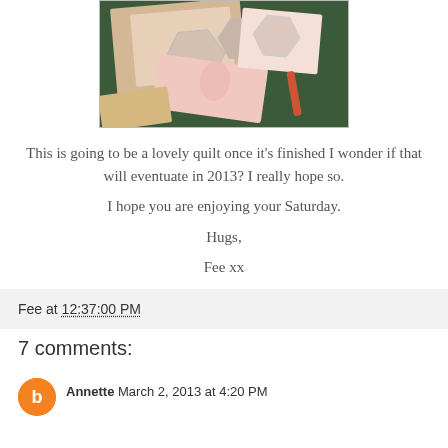[Figure (photo): A photo showing quilting materials including fabric pieces, hexagon templates, and craft supplies on a dark cutting mat.]
This is going to be a lovely quilt once it’s finished I wonder if that will eventuate in 2013?  I really hope so.
I hope you are enjoying your Saturday.
Hugs,
Fee xx
Fee at 12:37:00 PM
7 comments:
Annette  March 2, 2013 at 4:20 PM